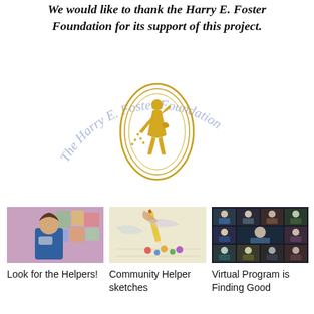We would like to thank the Harry E. Foster Foundation for its support of this project.
[Figure (logo): The Harry E. Foster Foundation logo — an oval medallion with a gold figure of a sower inside concentric gold ellipses, with arced cursive text 'The Harry E. Foster Foundation' in light blue/lavender around the top arc.]
[Figure (photo): A person wearing a blue jacket and mask standing in front of colorful artwork/posters on a pink/purple wall.]
Look for the Helpers!
[Figure (photo): Close-up of a hand holding a pencil drawing/sketching on paper, with colorful circle dots visible at the bottom of the page.]
Community Helper sketches
[Figure (photo): A virtual video call grid showing multiple participants in small tiles on a dark background, resembling a Zoom or video conference screen.]
Virtual Program is Finding Good